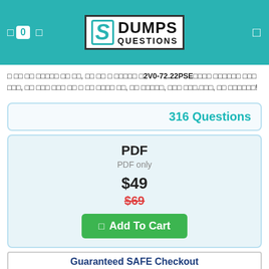[Figure (logo): DumpsQuestions logo with teal S symbol and bold DUMPS QUESTIONS text]
□ □□ □□ □□□□□ □□ □□, □□ □□ □ □□□□□ □2V0-72.22PSE□□□□ □□□□□□ □□□ □□□, □□ □□□ □□□ □□ □ □□ □□□□ □□, □□ □□□□□, □□□ □□□.□□□, □□ □□□□□□!
316 Questions
PDF
PDF only
$49
$69
Add To Cart
[Figure (infographic): Guaranteed SAFE Checkout banner with VISA, MasterCard, American Express, Discover, Delta, checkmark and lock payment icons]